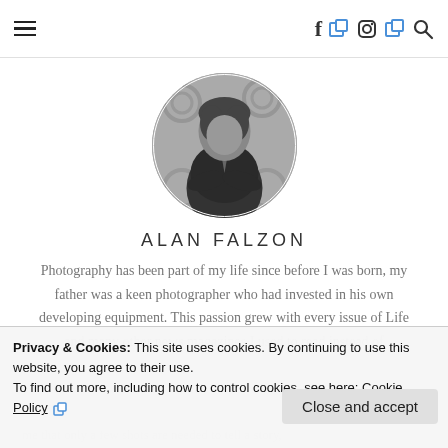☰  f [icon] [icon] [search]
[Figure (photo): Black and white circular portrait photo of Alan Falzon, a man with dark hair wearing a dark jacket, sitting with arms crossed, with a patterned background.]
ALAN FALZON
Photography has been part of my life since before I was born, my father was a keen photographer who had invested in his own developing equipment. This passion grew with every issue of Life and many other news magazines I used to read instead of
Privacy & Cookies: This site uses cookies. By continuing to use this website, you agree to their use.
To find out more, including how to control cookies, see here: Cookie Policy
Close and accept
me that only a few shots are needed to tell a story,